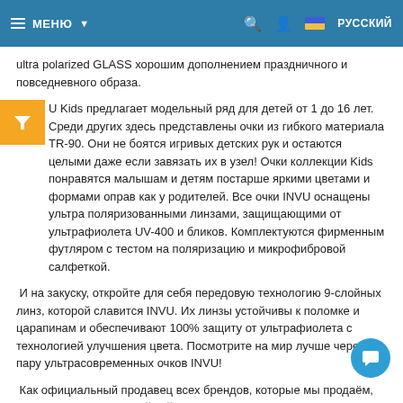МЕНЮ | РУССКИЙ
ultra polarized GLASS хорошим дополнением праздничного и повседневного образа.
U Kids предлагает модельный ряд для детей от 1 до 16 лет. Среди других здесь представлены очки из гибкого материала TR-90. Они не боятся игривых детских рук и остаются целыми даже если завязать их в узел! Очки коллекции Kids понравятся малышам и детям постарше яркими цветами и формами оправ как у родителей. Все очки INVU оснащены ультра поляризованными линзами, защищающими от ультрафиолета UV-400 и бликов. Комплектуются фирменным футляром с тестом на поляризацию и микрофибровой салфеткой.
И на закуску, откройте для себя передовую технологию 9-слойных линз, которой славится INVU. Их линзы устойчивы к поломке и царапинам и обеспечивают 100% защиту от ультрафиолета с технологией улучшения цвета. Посмотрите на мир лучше через пару ультрасовременных очков INVU!
Как официальный продавец всех брендов, которые мы продаём, предоставляем гарантийный срок от производителя и гарантируем